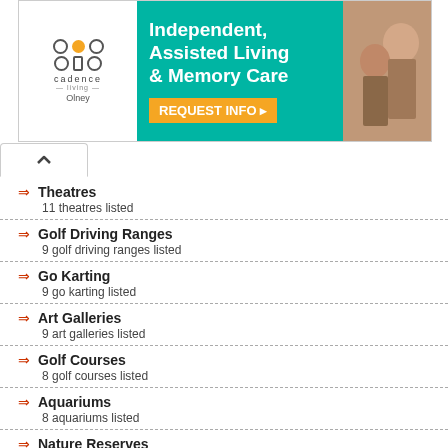[Figure (infographic): Advertisement banner for Cadence Living Olney: Independent, Assisted Living & Memory Care with REQUEST INFO button]
Theatres
11 theatres listed
Golf Driving Ranges
9 golf driving ranges listed
Go Karting
9 go karting listed
Art Galleries
9 art galleries listed
Golf Courses
8 golf courses listed
Aquariums
8 aquariums listed
Nature Reserves
8 nature reserves listed
Stadiums
8 stadiums listed
Exhibition and Trade Centres
8 exhibition and trade centres listed
Lakes